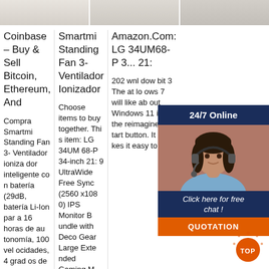[Figure (screenshot): Three screenshot thumbnail images at top of page showing website screenshots]
Coinbase – Buy & Sell Bitcoin, Ethereum, And
Smartmi Standing Fan 3- Ventilador Ionizador
Amazon.Com: LG 34UM68-P 3... 21:
Compra Smartmi Standing Fan 3- Ventilador ionizador inteligente con batería (29dB, batería Li-Ion par a 16 horas de autonomía, 100 vel ocidades, 4 grad os de oscilación,
Choose items to buy together. This item: LG 34UM 68-P 34-inch 21: 9 UltraWide Free Sync (2560 x1080) IPS Monitor B undle with Deco Gear Large Exte nded Gaming M ouse Pad 348.99
202 wnl dow bit 3 The at lo ows 7 will like ab out Windows 11 i s the reimagined s tart button. It ma kes it easy to ac
[Figure (infographic): Chat widget overlay with dark blue header '24/7 Online', photo of female customer service agent with headset, italic text 'Click here for free chat!', and orange QUOTATION button]
[Figure (infographic): Orange circular TOP icon with radiating dots at bottom right corner]